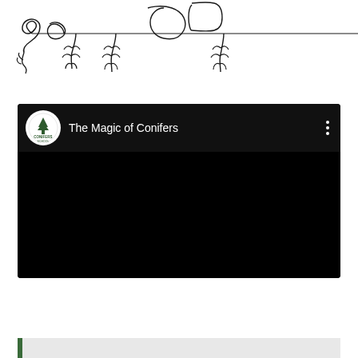[Figure (illustration): Hand-drawn line art illustration of conifer trees or plants hanging/growing along a horizontal line, with looping continuous line art style showing various botanical elements with leaves and branches.]
[Figure (screenshot): YouTube video embed showing 'The Magic of Conifers' by Conifers School channel. Black background video player with channel logo (circular white logo with tree/conifer icon and text CONIFERS SCHOOL), video title in white, and three-dot menu icon.]
[Figure (other): Bottom partial bar with dark green left accent stripe and light grey background, partially visible at the bottom of the page.]